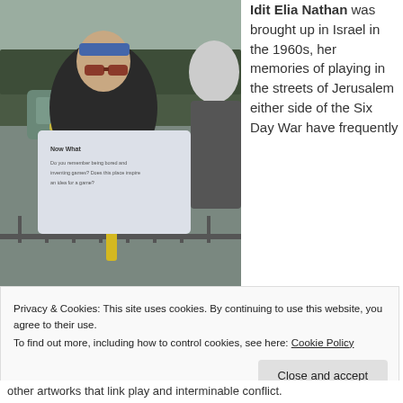[Figure (photo): A woman holding a white card/sign with text, wearing sunglasses and a blue headband, standing outdoors near a car and railing. Another person visible at right edge.]
Idit Elia Nathan was brought up in Israel in the 1960s, her memories of playing in the streets of Jerusalem either side of the Six Day War have frequently
Privacy & Cookies: This site uses cookies. By continuing to use this website, you agree to their use.
To find out more, including how to control cookies, see here: Cookie Policy
Close and accept
other artworks that link play and interminable conflict.